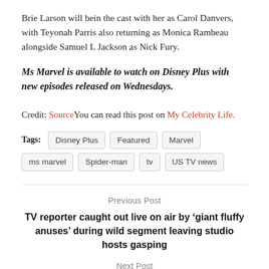Brie Larson will bein the cast with her as Carol Danvers, with Teyonah Parris also returning as Monica Rambeau alongside Samuel L Jackson as Nick Fury.
Ms Marvel is available to watch on Disney Plus with new episodes released on Wednesdays.
Credit: SourceYou can read this post on My Celebrity Life.
Tags: Disney Plus  Featured  Marvel  ms marvel  Spider-man  tv  US TV news
Previous Post
TV reporter caught out live on air by ‘giant fluffy anuses’ during wild segment leaving studio hosts gasping
Next Post